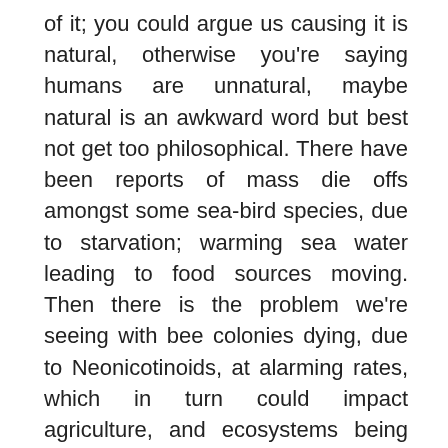of it; you could argue us causing it is natural, otherwise you're saying humans are unnatural, maybe natural is an awkward word but best not get too philosophical. There have been reports of mass die offs amongst some sea-bird species, due to starvation; warming sea water leading to food sources moving. Then there is the problem we're seeing with bee colonies dying, due to Neonicotinoids, at alarming rates, which in turn could impact agriculture, and ecosystems being completely disrupted due to one species disappearing, for example a top predator, due to human interference. I could write several blogs alone on the impact we have on different species due to fishing and farming practices, overhunting, poaching, habitat destruction and climate change. I can't believe people still hunt endangered species, including for example whales, how is that possibly acceptable other than if you're doing it because you need to live (e.g. some small aboriginal communities kill the odd whale for food and resources).